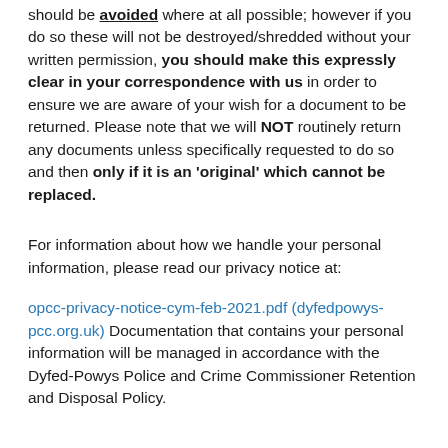should be avoided where at all possible; however if you do so these will not be destroyed/shredded without your written permission, you should make this expressly clear in your correspondence with us in order to ensure we are aware of your wish for a document to be returned. Please note that we will NOT routinely return any documents unless specifically requested to do so and then only if it is an 'original' which cannot be replaced.
For information about how we handle your personal information, please read our privacy notice at:
opcc-privacy-notice-cym-feb-2021.pdf (dyfedpowys-pcc.org.uk) Documentation that contains your personal information will be managed in accordance with the Dyfed-Powys Police and Crime Commissioner Retention and Disposal Policy.